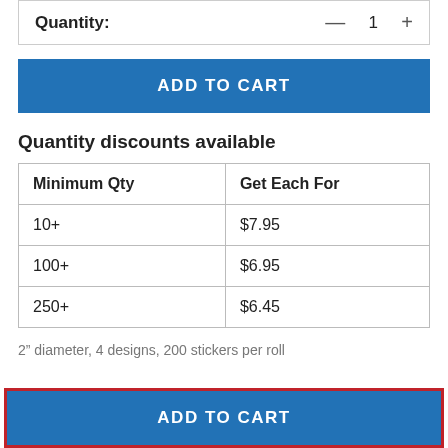Quantity: — 1 +
ADD TO CART
Quantity discounts available
| Minimum Qty | Get Each For |
| --- | --- |
| 10+ | $7.95 |
| 100+ | $6.95 |
| 250+ | $6.45 |
2" diameter, 4 designs, 200 stickers per roll
ADD TO CART